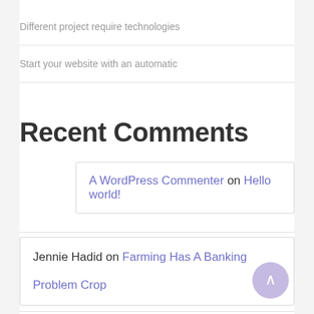Different project require technologies
Start your website with an automatic
Recent Comments
A WordPress Commenter on Hello world!
Jennie Hadid on Farming Has A Banking Problem Crop